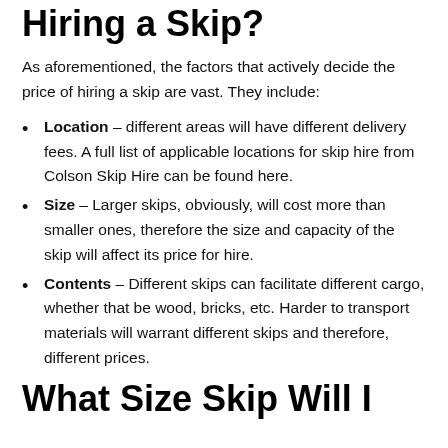Hiring a Skip?
As aforementioned, the factors that actively decide the price of hiring a skip are vast. They include:
Location – different areas will have different delivery fees. A full list of applicable locations for skip hire from Colson Skip Hire can be found here.
Size – Larger skips, obviously, will cost more than smaller ones, therefore the size and capacity of the skip will affect its price for hire.
Contents – Different skips can facilitate different cargo, whether that be wood, bricks, etc. Harder to transport materials will warrant different skips and therefore, different prices.
What Size Skip Will I